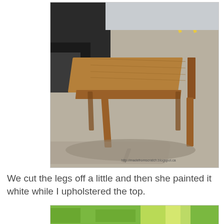[Figure (photo): A wooden desk/table with slender legs, photographed outdoors in a parking lot next to a vehicle. A watermark reads 'http://madefromscratch.blogspot.ca' at the bottom right.]
We cut the legs off a little and then she painted it white while I upholstered the top.
[Figure (photo): Partial view of the table after modification, shown outdoors on grass with sunlight.]